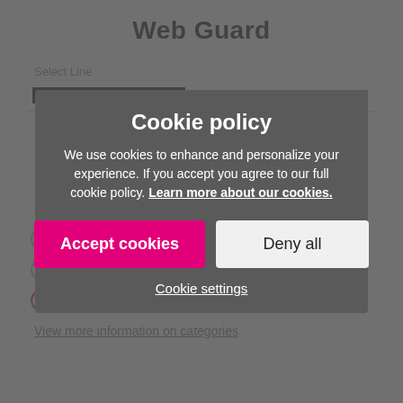Web Guard
Select Line
Permissions
Important note: Web Guard does not filter content when browsing over Wi-Fi or when accessing content via any application.
High
Low
No Filter
View more information on categories
Cookie policy
We use cookies to enhance and personalize your experience. If you accept you agree to our full cookie policy. Learn more about our cookies.
Accept cookies
Deny all
Cookie settings